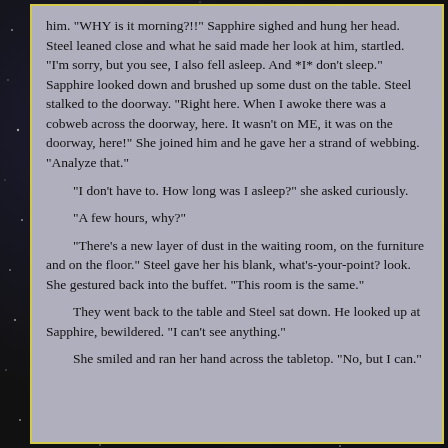him. "WHY is it morning?!!" Sapphire sighed and hung her head. Steel leaned close and what he said made her look at him, startled. "I'm sorry, but you see, I also fell asleep. And *I* don't sleep." Sapphire looked down and brushed up some dust on the table. Steel stalked to the doorway. "Right here. When I awoke there was a cobweb across the doorway, here. It wasn't on ME, it was on the doorway, here!" She joined him and he gave her a strand of webbing. "Analyze that."
"I don't have to. How long was I asleep?" she asked curiously.
"A few hours, why?"
"There's a new layer of dust in the waiting room, on the furniture and on the floor." Steel gave her his blank, what's-your-point? look. She gestured back into the buffet. "This room is the same."
They went back to the table and Steel sat down. He looked up at Sapphire, bewildered. "I can't see anything."
She smiled and ran her hand across the tabletop. "No, but I can."